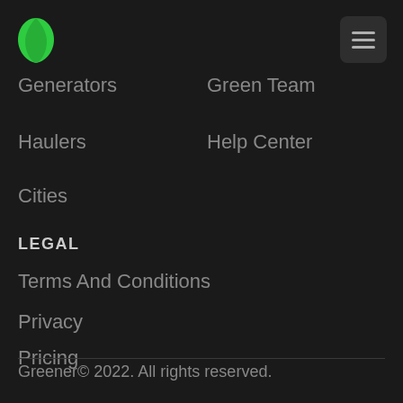[Figure (logo): Green leaf droplet logo icon]
[Figure (illustration): Hamburger menu button (three horizontal lines) in a dark rounded rectangle]
Generators
Green Team
Haulers
Help Center
Cities
LEGAL
Terms And Conditions
Privacy
Pricing
Greener© 2022. All rights reserved.